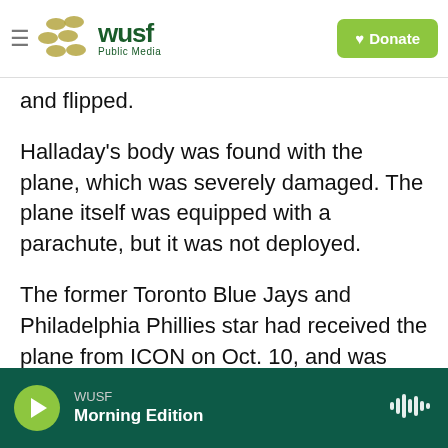WUSF Public Media — Donate
and flipped.
Halladay's body was found with the plane, which was severely damaged. The plane itself was equipped with a parachute, but it was not deployed.
The former Toronto Blue Jays and Philadelphia Phillies star had received the plane from ICON on Oct. 10, and was one of the first to receive the model. In one of many enthusiastic tweets about the plane, Halladay said it felt "like flying a fighter jet." He had about 700 hours of flight time after getting his license in 2013, the report says. He had 51...
WUSF — Morning Edition